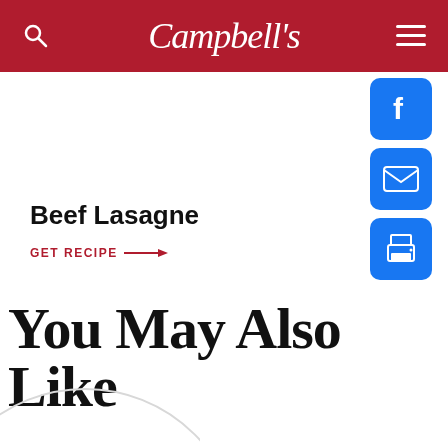Campbell's
Beef Lasagne
GET RECIPE →
[Figure (illustration): Facebook, email, and print share buttons (blue rounded squares with white icons)]
You May Also Like
[Figure (illustration): Partial circular placeholder image at bottom left]